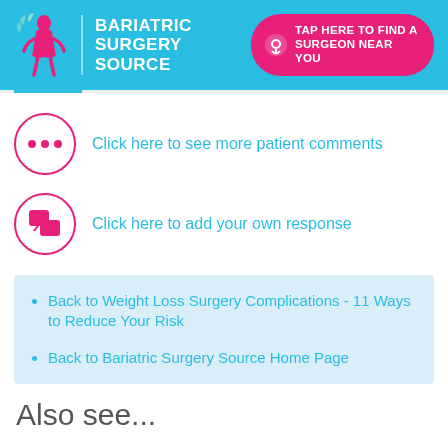BARIATRIC SURGERY SOURCE | TAP HERE TO FIND A SURGEON NEAR YOU
Click here to see more patient comments
Click here to add your own response
Back to Weight Loss Surgery Complications - 11 Ways to Reduce Your Risk
Back to Bariatric Surgery Source Home Page
Also see...